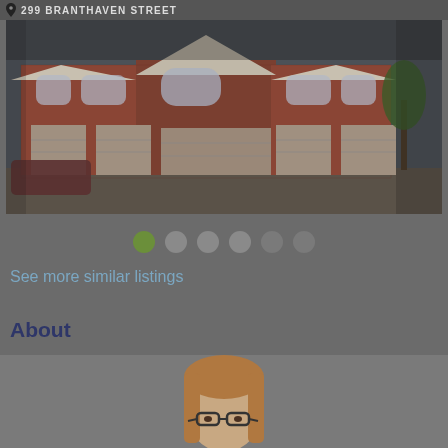299 BRANTHAVEN STREET
[Figure (photo): Exterior photo of a red brick townhouse with attached garages, arched window details, and a peaked roof trim. Multiple units visible side by side.]
[Figure (infographic): Row of 6 navigation dots, with the first dot highlighted in green and remaining 5 in grey.]
See more similar listings
About
[Figure (photo): Partial photo of a person (agent) with glasses and medium-length hair, cropped at the bottom of the page.]